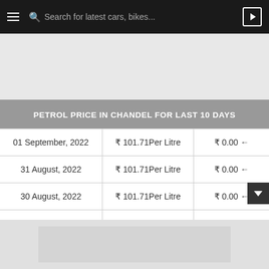Search for latest cars, bikes...
| Date | Price | Change |
| --- | --- | --- |
| 01 September, 2022 | ₹ 101.71Per Litre | ₹ 0.00 ← |
| 31 August, 2022 | ₹ 101.71Per Litre | ₹ 0.00 ← |
| 30 August, 2022 | ₹ 101.71Per Litre | ₹ 0.00 ← |
| 29 August, 2022 | ₹ 101.71Per Litre | ₹ 0.00 ← |